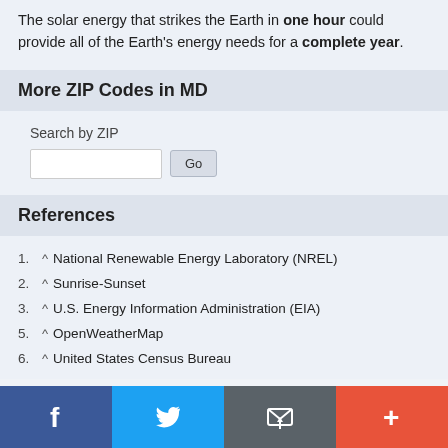The solar energy that strikes the Earth in one hour could provide all of the Earth's energy needs for a complete year.
More ZIP Codes in MD
Search by ZIP
References
1. ^ National Renewable Energy Laboratory (NREL)
2. ^ Sunrise-Sunset
3. ^ U.S. Energy Information Administration (EIA)
5. ^ OpenWeatherMap
6. ^ United States Census Bureau
Social share bar: Facebook, Twitter, Email, Plus